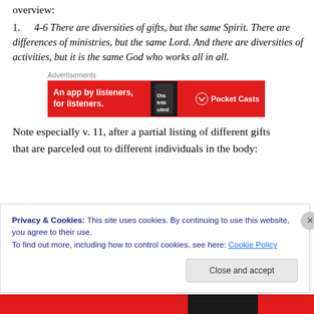overview:
4-6 There are diversities of gifts, but the same Spirit. There are differences of ministries, but the same Lord. And there are diversities of activities, but it is the same God who works all in all.
[Figure (other): Advertisement banner for Pocket Casts app: red background with text 'An app by listeners, for listeners.' and Pocket Casts logo on right, phone image in center]
Note especially v. 11, after a partial listing of different gifts that are parceled out to different individuals in the body:
Privacy & Cookies: This site uses cookies. By continuing to use this website, you agree to their use. To find out more, including how to control cookies, see here: Cookie Policy
Close and accept